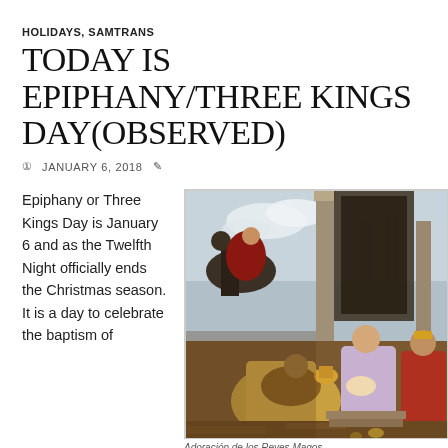HOLIDAYS, SAMTRANS
TODAY IS EPIPHANY/THREE KINGS DAY(OBSERVED)
JANUARY 6, 2018
Epiphany or Three Kings Day is January 6 and as the Twelfth Night officially ends the Christmas season. It is a day to celebrate the baptism of
[Figure (photo): Painting of the Adoration of the Magi, showing the Three Kings presenting gifts to Mary and the Christ child, with horses and architectural columns in the background. Classical Renaissance/Baroque style painting.]
Adoración de los Reyes Magos